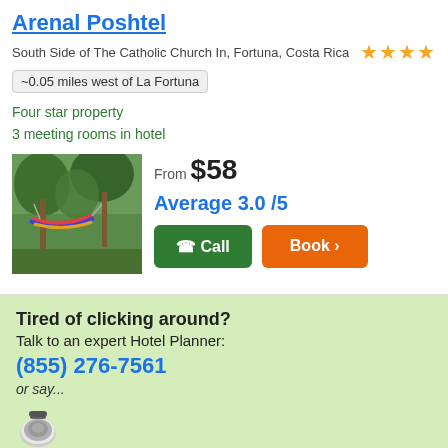Arenal Poshtel
South Side of The Catholic Church In, Fortuna, Costa Rica ★★★★
~0.05 miles west of La Fortuna
Four star property
3 meeting rooms in hotel
[Figure (photo): Hotel photo showing colorful hammocks in a garden/outdoor area with trees]
From $58
Average 3.0 /5
Call  Book >
Tired of clicking around?
Talk to an expert Hotel Planner:
(855) 276-7561
or say...
"Alexa, ask Hotel Planner to make a new reservation in La Fortuna" Get Alexa Skill →